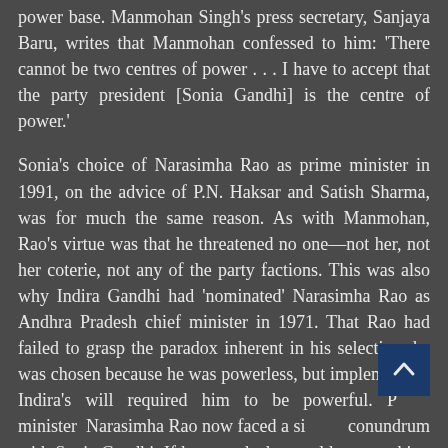power base. Manmohan Singh's press secretary, Sanjaya Baru, writes that Manmohan confessed to him: 'There cannot be two centres of power . . . I have to accept that the party president [Sonia Gandhi] is the centre of power.'
Sonia's choice of Narasimha Rao as prime minister in 1991, on the advice of P.N. Haksar and Satish Sharma, was for much the same reason. As with Manmohan, Rao's virtue was that he threatened no one—not her, not her coterie, not any of the party factions. This was also why Indira Gandhi had 'nominated' Narasimha Rao as Andhra Pradesh chief minister in 1971. That Rao had failed to grasp the paradox inherent in his selection: he was chosen because he was powerless, but implementing Indira's will required him to be powerful. P[rime] minister Narasimha Rao now faced a si[milar] conundrum with Sonia Gandhi. If he roared, she would remove him. If he whispered, he would lose his